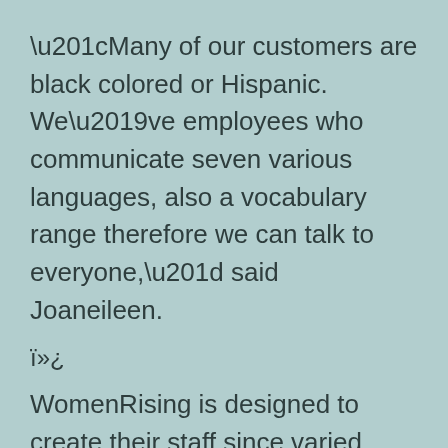“Many of our customers are black colored or Hispanic. We’ve employees who communicate seven various languages, also a vocabulary range therefore we can talk to everyone,” said Joaneileen.
ï»¿
WomenRising is designed to create their staff since varied once the ladies who make use of its solutions. Staff contribute a great amount of input and enjoy typical instruction opportunities the company offers. The team additionally